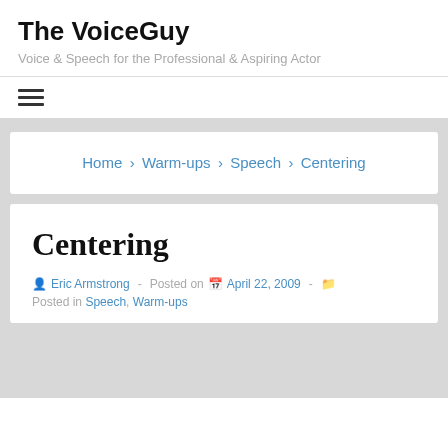The VoiceGuy
Voice & Speech for the Professional & Aspiring Actor
≡ (hamburger menu)
Home › Warm-ups › Speech › Centering
Centering
Eric Armstrong - Posted on April 22, 2009 - Posted in Speech, Warm-ups